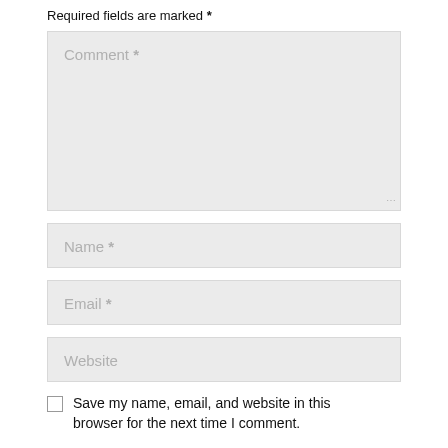Required fields are marked *
[Figure (screenshot): Comment text area input field with placeholder text 'Comment *' and resize handle]
[Figure (screenshot): Name text input field with placeholder text 'Name *']
[Figure (screenshot): Email text input field with placeholder text 'Email *']
[Figure (screenshot): Website text input field with placeholder text 'Website']
Save my name, email, and website in this browser for the next time I comment.